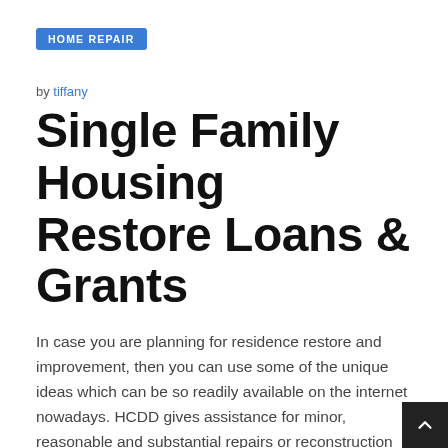HOME REPAIR
by tiffany
Single Family Housing Restore Loans & Grants
In case you are planning for residence restore and improvement, then you can use some of the unique ideas which can be so readily available on the internet nowadays. HCDD gives assistance for minor, reasonable and substantial repairs or reconstruction for detached single-household residences throughout the metropolis. The program will provide residence repair help to homes the place the household revenue is not more than